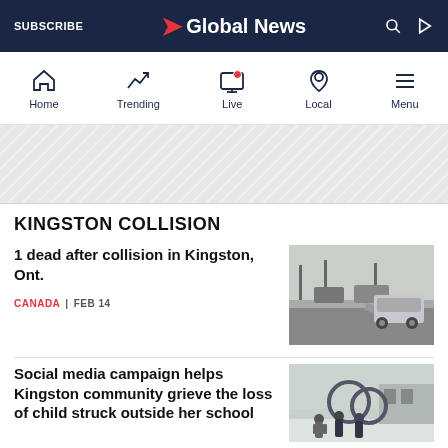SUBSCRIBE | Global News
Home | Trending | Live | Local | Menu
[Figure (other): Advertisement banner with diagonal stripe pattern]
KINGSTON COLLISION
1 dead after collision in Kingston, Ont.
[Figure (photo): Photo of car collision on a snowy road in Kingston, Ontario]
CANADA | FEB 14
Social media campaign helps Kingston community grieve the loss of child struck outside her school
[Figure (photo): Photo of people standing in snow near decorative hoops or rings]